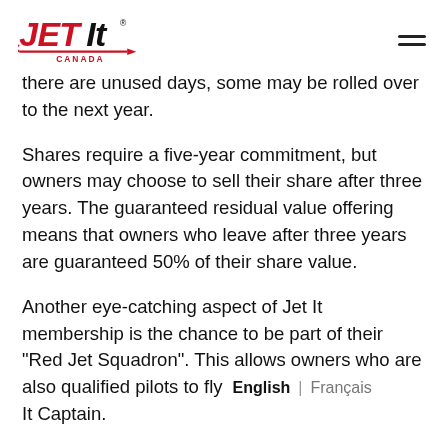Jet It Canada logo and navigation menu
there are unused days, some may be rolled over to the next year.
Shares require a five-year commitment, but owners may choose to sell their share after three years. The guaranteed residual value offering means that owners who leave after three years are guaranteed 50% of their share value.
Another eye-catching aspect of Jet It membership is the chance to be part of their “Red Jet Squadron”. This allows owners who are also qualified pilots to fly   English | Français It Captain.